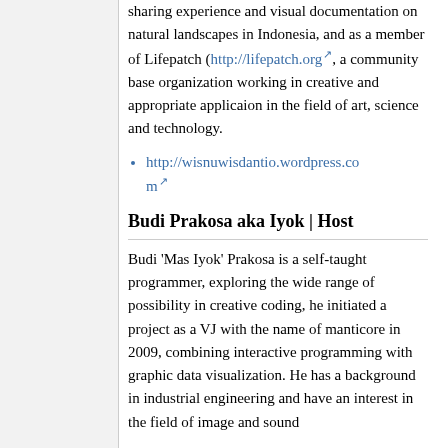sharing experience and visual documentation on natural landscapes in Indonesia, and as a member of Lifepatch (http://lifepatch.org, a community base organization working in creative and appropriate applicaion in the field of art, science and technology.
http://wisnuwisdantio.wordpress.com
Budi Prakosa aka Iyok | Host
Budi 'Mas Iyok' Prakosa is a self-taught programmer, exploring the wide range of possibility in creative coding, he initiated a project as a VJ with the name of manticore in 2009, combining interactive programming with graphic data visualization. He has a background in industrial engineering and have an interest in the field of image and sound